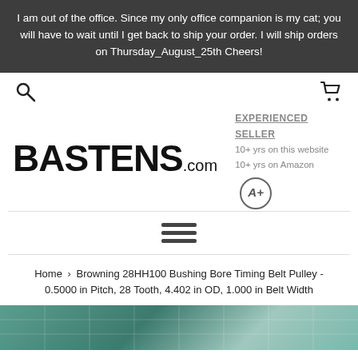I am out of the office. Since my only office companion is my cat; you will have to wait until I get back to ship your order. I will ship orders on Thursday_August_25th Cheers!
[Figure (logo): BASTENS.com logo with EXPERIENCED SELLER badge: 10+ yrs on this website, 10+ yrs on Amazon, A+ rating circled]
[Figure (other): Hamburger menu icon (three horizontal lines)]
Home › Browning 28HH100 Bushing Bore Timing Belt Pulley - 0.5000 in Pitch, 28 Tooth, 4.402 in OD, 1.000 in Belt Width
[Figure (photo): Partial product photo showing a teal/green gridded surface, likely a cutting mat or industrial surface]